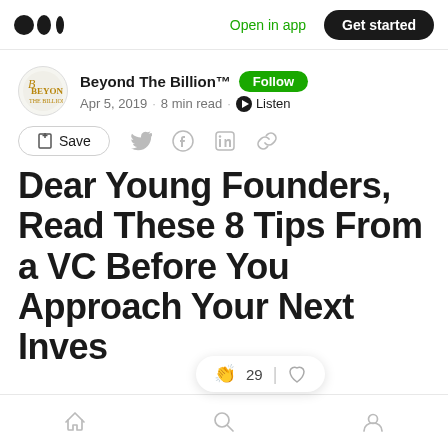Medium app header with logo, Open in app, Get started
Beyond The Billion™ · Follow · Apr 5, 2019 · 8 min read · Listen
Save (action bar with share icons)
Dear Young Founders, Read These 8 Tips From a VC Before You Approach Your Next Inves...
Bottom navigation bar: Home, Search, Profile